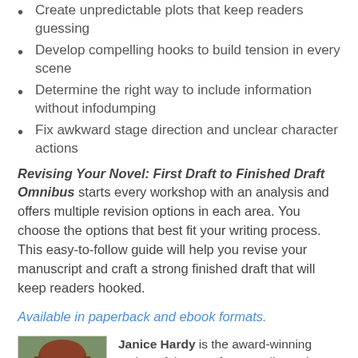Create unpredictable plots that keep readers guessing
Develop compelling hooks to build tension in every scene
Determine the right way to include information without infodumping
Fix awkward stage direction and unclear character actions
Revising Your Novel: First Draft to Finished Draft Omnibus starts every workshop with an analysis and offers multiple revision options in each area. You choose the options that best fit your writing process. This easy-to-follow guide will help you revise your manuscript and craft a strong finished draft that will keep readers hooked.
Available in paperback and ebook formats.
[Figure (photo): Headshot photo of Janice Hardy, a woman with reddish-brown hair wearing glasses, photographed outdoors.]
Janice Hardy is the award-winning author of the teen fantasy trilogy The Healing Wars, including The Shifter, Blue Fire, and Darkfall from